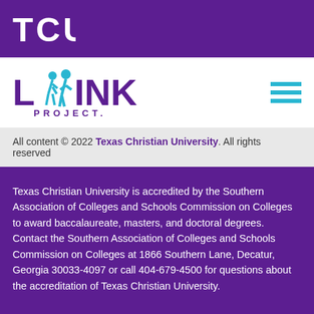[Figure (logo): TCU logo text in white on purple background]
[Figure (logo): Link Project logo with blue figures and purple text, hamburger menu icon on right]
All content © 2022 Texas Christian University. All rights reserved
Texas Christian University is accredited by the Southern Association of Colleges and Schools Commission on Colleges to award baccalaureate, masters, and doctoral degrees. Contact the Southern Association of Colleges and Schools Commission on Colleges at 1866 Southern Lane, Decatur, Georgia 30033-4097 or call 404-679-4500 for questions about the accreditation of Texas Christian University.